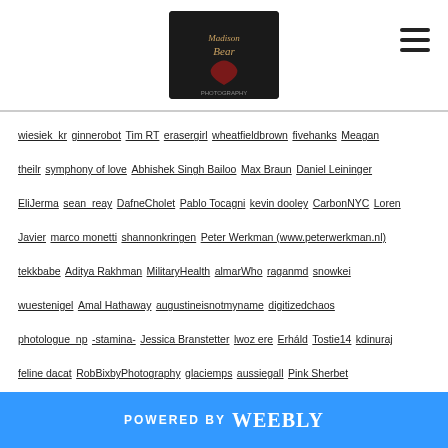[Figure (logo): Madison Bear logo - dark book cover image with heart]
wiesiek_kr ginnerobot Tim RT erasergirl wheatfieldbrown fivehanks Meagan theilr symphony of love Abhishek Singh Bailoo Max Braun Daniel Leininger EliJerma sean_reay DafneCholet Pablo Tocagni kevin dooley CarbonNYC Loren Javier marco monetti shannonkringen Peter Werkman (www.peterwerkman.nl) tekkbabe Aditya Rakhman MilitaryHealth almarWho raganmd snowkei wuestenigel Amal Hathaway augustineisnotmyname digitizedchaos photologue_np -stamina- Jessica Branstetter lwoz ere Erháld Tostie14 kdinuraj feline dacat RobBixbyPhotography glaciemps aussiegall Pink Sherbet Photography Poul-Werner Loren Javier Diamond Farah AForestFrolic williamcho shannonkringen gagilas ben.fitzgerald Tony Fischer Photography rufusowliebat emilianohorcada George Deputee LadyDragonflyCC - >;< - Spring in Michigan! brick red citymaus Emery Co Photo midiman Thragor jdegrazia dane brian sibikos nan palmero r.nial.bradshaw US Army Africa bambe1964
POWERED BY weebly